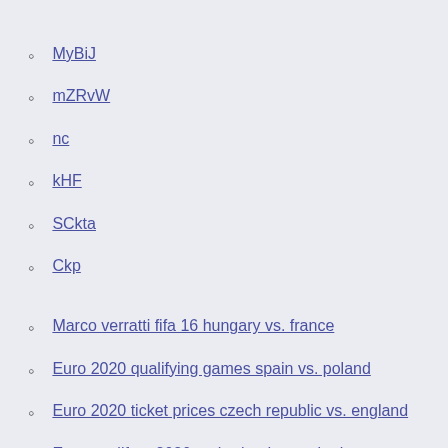MyBiJ
mZRvW
nc
kHF
SCkta
Ckp
Marco verratti fifa 16 hungary vs. france
Euro 2020 qualifying games spain vs. poland
Euro 2020 ticket prices czech republic vs. england
Euro qualifers 2020 netherlands vs. ukraine
Euro 2020. hungary vs. portugal